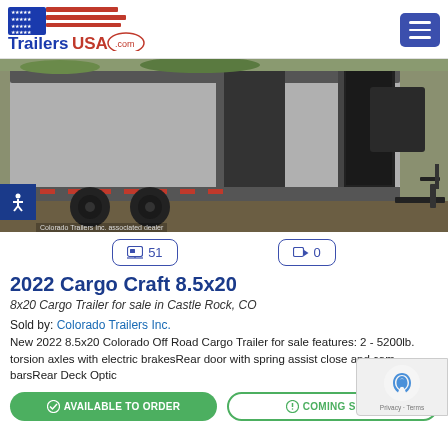[Figure (logo): TrailersUSA.com logo with American flag motif and red/blue text]
[Figure (photo): Photo of a 2022 Cargo Craft 8.5x20 enclosed cargo trailer with open rear door, shown in parking area, black wheels and trim]
📷 51   🎥 0
2022 Cargo Craft 8.5x20
8x20 Cargo Trailer for sale in Castle Rock, CO
Sold by: Colorado Trailers Inc.
New 2022 8.5x20 Colorado Off Road Cargo Trailer for sale features: 2 - 5200lb. torsion axles with electric brakesRear door with spring assist close and cam barsRear Deck Optic
AVAILABLE TO ORDER   COMING SOON